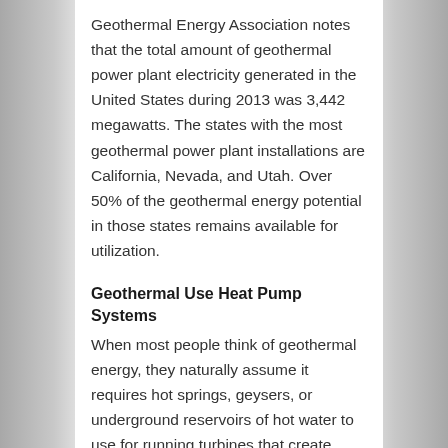Geothermal Energy Association notes that the total amount of geothermal power plant electricity generated in the United States during 2013 was 3,442 megawatts. The states with the most geothermal power plant installations are California, Nevada, and Utah. Over 50% of the geothermal energy potential in those states remains available for utilization.
Geothermal Use Heat Pump Systems
When most people think of geothermal energy, they naturally assume it requires hot springs, geysers, or underground reservoirs of hot water to use for running turbines that create electricity. This is true